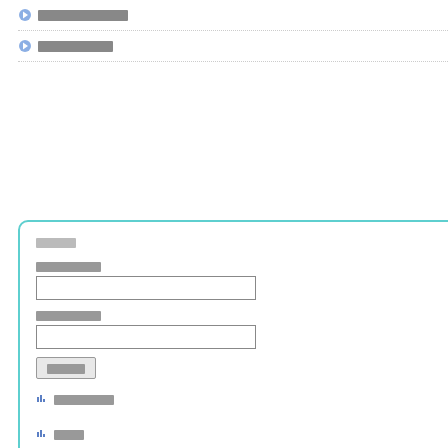[blocked text item 1]
[blocked text item 2]
Form box with fields: [label], [label], [button], [link1], [link2]
| Key | Value |
| --- | --- |
| AIM |  |
| YIM |  |
| MSNM |  |
| [blocked] | Benenden |
| [blocked] | Food cooking machine tende... |
| [blocked] | Martial arts, Videophilia (Hom... |
| [blocked] | Search for coupon codes ma... green verified label for right this moment's lively ... promo codes.

We test for brand spanking n... codes incessantly, so just check again this page... the most recent accessible S... |